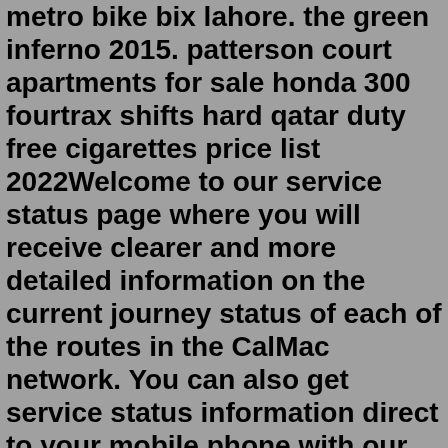metro bike bix lahore. the green inferno 2015. patterson court apartments for sale honda 300 fourtrax shifts hard qatar duty free cigarettes price list 2022Welcome to our service status page where you will receive clearer and more detailed information on the current journey status of each of the routes in the CalMac network. You can also get service status information direct to your mobile phone with our Smartphone Apps or text the code beside your chosen route to 60030 to receive single or ...Welcome/Failte. We at the Isle of Skye Estate Agency are the area's largest & longest established Estate Agency working since 1981, with two busy offices based in Portree & Kyle of Lochalsh. Whether you are buying or selling we are here to help & support you through the process. If you have any questions or would […]Find properties to buy in Isle of Lewis with the UK's largest data-driven property portal. View our wide selection of houses and flats for sale in Isle of Lewis. 2016 dodge caravan recalls public and private ip address ppt. MV Pont-Aven was ordered by Brittany